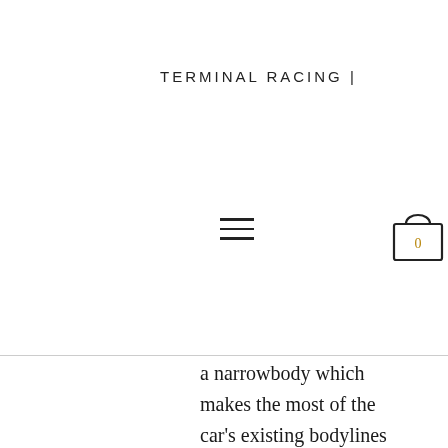TERMINAL RACING |
[Figure (screenshot): Navigation overlay with hamburger menu icon and shopping cart icon showing 0 items]
a narrowbody which makes the most of the car's existing bodylines as well as a widebody version. Produced in Japan to the finest standards, Varis products offer exemplary fitment for quicker, simpler installation. The name is SUPREME – a wide body kit that gives off a strong impact. Each widebody kit consists of a "front wide lip", "front fender + extension", "side skirt + big under canard + side air panel", "door